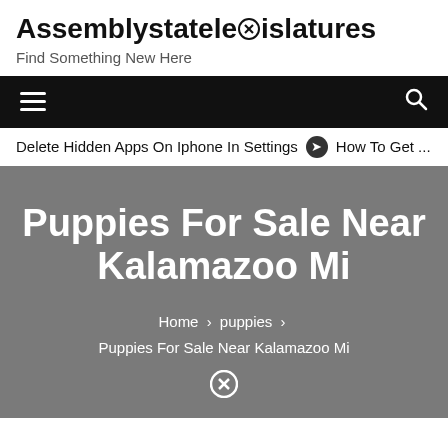Assemblystatelegislatures
Find Something New Here
☰  🔍
Delete Hidden Apps On Iphone In Settings  ➤ How To Get ...
Puppies For Sale Near Kalamazoo Mi
Home > puppies > Puppies For Sale Near Kalamazoo Mi